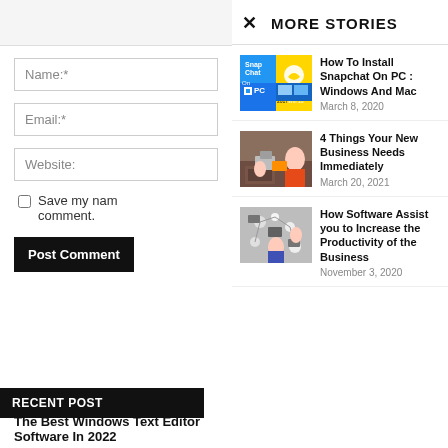Name:*
Email:*
Website:
Save my name, comment.
Post Comment
MORE STORIES
[Figure (screenshot): Snapchat on PC thumbnail with Windows logo]
How To Install Snapchat On PC : Windows And Mac
March 8, 2020
[Figure (photo): People working around a table with laptops and documents]
4 Things Your New Business Needs Immediately
March 20, 2021
[Figure (photo): Overhead view of people with phones and tech devices with chat bubble diagrams]
How Software Assist you to Increase the Productivity of the Business
November 3, 2020
RECENT POST
The Best Windows Text Editor Software In 2022